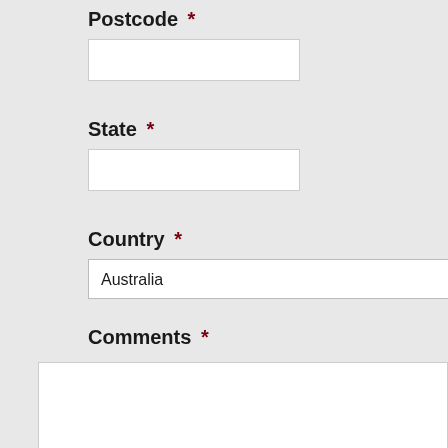Postcode *
State *
Country *
Australia
Comments *